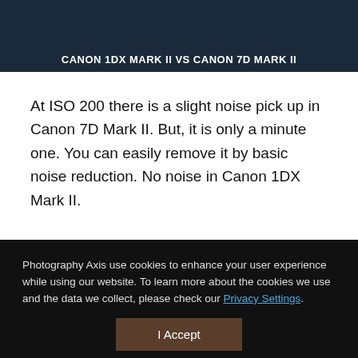[Figure (photo): Camera comparison image with text overlay reading CANON 1DX MARK II VS CANON 7D MARK II on a dark blue/grey background]
At ISO 200 there is a slight noise pick up in Canon 7D Mark II. But, it is only a minute one. You can easily remove it by basic noise reduction. No noise in Canon 1DX Mark II.
Photography Axis use cookies to enhance your user experience while using our website. To learn more about the cookies we use and the data we collect, please check our Privacy Settings.
I Accept